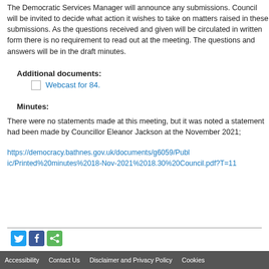The Democratic Services Manager will announce any submissions. Council will be invited to decide what action it wishes to take on matters raised in these submissions. As the questions received and given will be circulated in written form there is no requirement to read out at the meeting. The questions and answers will be in the draft minutes.
Additional documents:
Webcast for 84.
Minutes:
There were no statements made at this meeting, but it was noted a statement had been made by Councillor Eleanor Jackson at the November 2021;
https://democracy.bathnes.gov.uk/documents/g6059/Publ Nov-2021%2018.30%20Council.pdf?T=11
Accessibility   Contact Us   Disclaimer and Privacy Policy   Cookies